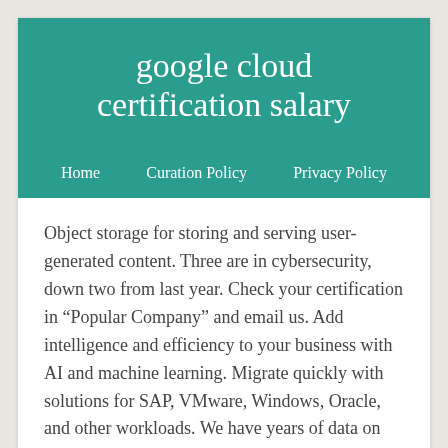google cloud certification salary
Home   Curation Policy   Privacy Policy
Object storage for storing and serving user-generated content. Three are in cybersecurity, down two from last year. Check your certification in “Popular Company” and email us. Add intelligence and efficiency to your business with AI and machine learning. Migrate quickly with solutions for SAP, VMware, Windows, Oracle, and other workloads. We have years of data on your specialty’s findability...